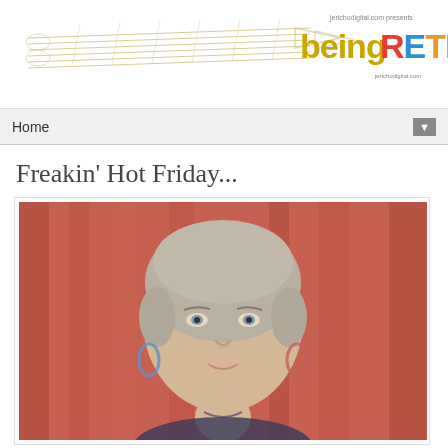Being Retro - blog header with guitar/music instrument logo
Home
Freakin' Hot Friday...
[Figure (photo): Portrait photo of a young woman with light hair pulled back, wearing loop earrings, in front of a red curtain/drape background]